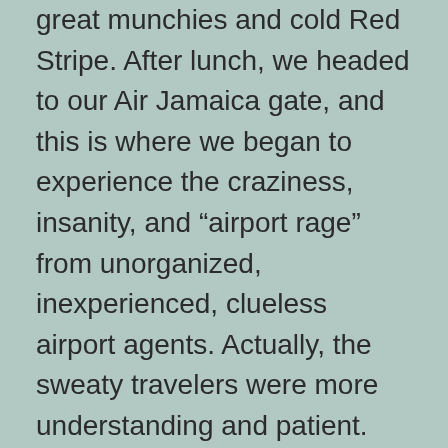great munchies and cold Red Stripe. After lunch, we headed to our Air Jamaica gate, and this is where we began to experience the craziness, insanity, and “airport rage” from unorganized, inexperienced, clueless airport agents. Actually, the sweaty travelers were more understanding and patient.
We went through the security check for carry on baggage (they opened everything), and then proceeded to the gate. We waited in line until the terminal doors were opened, and while the gate was collecting our ticket stubs, she stated the plane was open seating due to